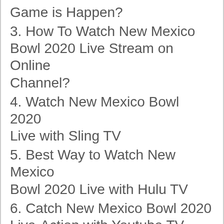Game is Happen?
3. How To Watch New Mexico Bowl 2020 Live Stream on Online Channel?
4. Watch New Mexico Bowl 2020 Live with Sling TV
5. Best Way to Watch New Mexico Bowl 2020 Live with Hulu TV
6. Catch New Mexico Bowl 2020 Live-Action with Youtube TV
7. Subscribe AT&T TV Now & Watch New Mexico Bowl 2020
8. Enjoy New Mexico 2020 Live with Fubo TV Subscription